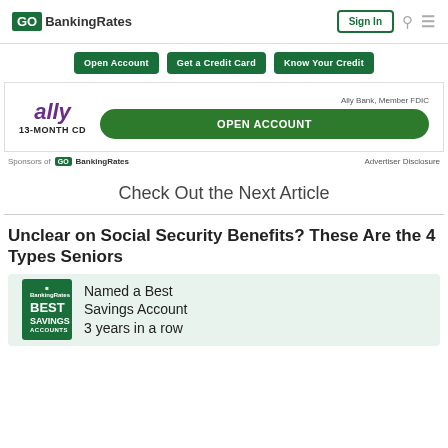GOBankingRates | Sign In
Open Account | Get a Credit Card | Know Your Credit
[Figure (screenshot): Ally Bank 13-Month CD advertisement with OPEN ACCOUNT button]
Sponsors of GOBankingRates   Advertiser Disclosure
Check Out the Next Article
Unclear on Social Security Benefits? These Are the 4 Types Seniors
[Figure (screenshot): GOBankingRates Best Savings Accounts book cover with text: Named a Best Savings Account 3 years in a row]